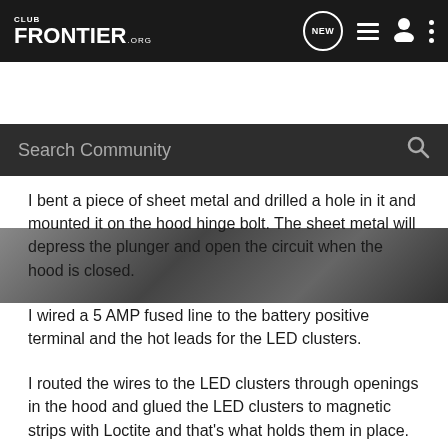CLUB FRONTIER.ORG — navigation bar with NEW, list, person, and menu icons
[Figure (screenshot): Search Community input bar with magnifying glass icon on dark background]
[Figure (photo): Partial image of metal parts/bolts on a dark background]
I bent a piece of sheet metal and drilled a hole in it and mounted it on the hood hinge bolt. The sheet metal will depress the plunger and open the circuit when the hood is closed.
I wired a 5 AMP fused line to the battery positive terminal and the hot leads for the LED clusters.
I routed the wires to the LED clusters through openings in the hood and glued the LED clusters to magnetic strips with Loctite and that's what holds them in place.